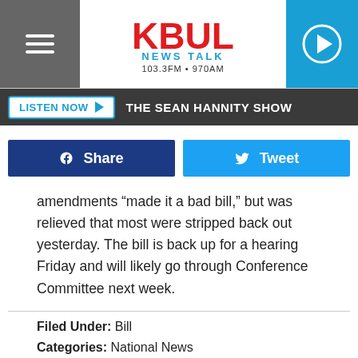[Figure (logo): KBUL News Talk 103.3FM 970AM radio station logo with hamburger menu and play button]
LISTEN NOW ▶  THE SEAN HANNITY SHOW
Share  Tweet
amendments “made it a bad bill,” but was relieved that most were stripped back out yesterday. The bill is back up for a hearing Friday and will likely go through Conference Committee next week.
Filed Under: Bill
Categories: National News
Comments
LEAVE A COMMENT